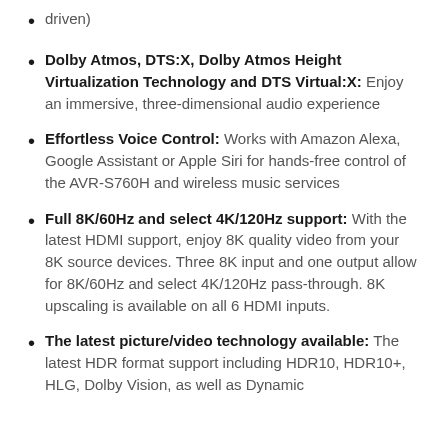driven)
Dolby Atmos, DTS:X, Dolby Atmos Height Virtualization Technology and DTS Virtual:X: Enjoy an immersive, three-dimensional audio experience
Effortless Voice Control: Works with Amazon Alexa, Google Assistant or Apple Siri for hands-free control of the AVR-S760H and wireless music services
Full 8K/60Hz and select 4K/120Hz support: With the latest HDMI support, enjoy 8K quality video from your 8K source devices. Three 8K input and one output allow for 8K/60Hz and select 4K/120Hz pass-through. 8K upscaling is available on all 6 HDMI inputs.
The latest picture/video technology available: The latest HDR format support including HDR10, HDR10+, HLG, Dolby Vision, as well as Dynamic